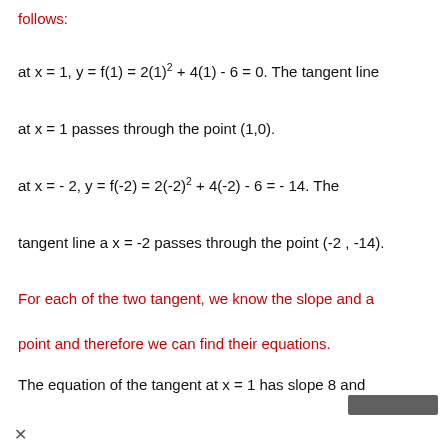follows:
at x = 1, y = f(1) = 2(1)² + 4(1) - 6 = 0. The tangent line
at x = 1 passes through the point (1,0).
at x = - 2, y = f(-2) = 2(-2)² + 4(-2) - 6 = - 14. The
tangent line a x = -2 passes through the point (-2 , -14).
For each of the two tangent, we know the slope and a point and therefore we can find their equations.
The equation of the tangent at x = 1 has slope 8 and